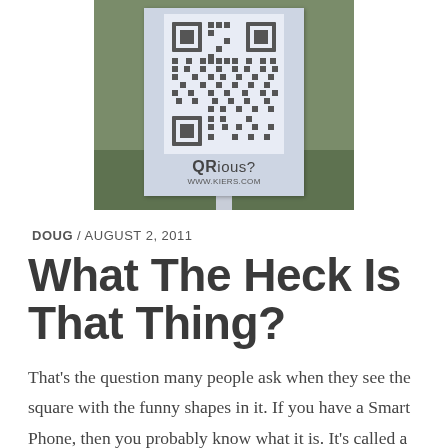[Figure (photo): Photo of an outdoor sign on grass featuring a large QR code and text 'QRious? www.kiers.com']
DOUG / AUGUST 2, 2011
What The Heck Is That Thing?
That's the question many people ask when they see the square with the funny shapes in it. If you have a Smart Phone, then you probably know what it is. It's called a QR